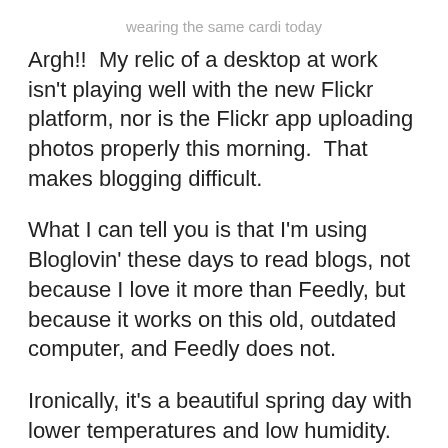wearing the same cardi today
Argh!!  My relic of a desktop at work isn't playing well with the new Flickr platform, nor is the Flickr app uploading photos properly this morning.  That makes blogging difficult.
What I can tell you is that I'm using Bloglovin' these days to read blogs, not because I love it more than Feedly, but because it works on this old, outdated computer, and Feedly does not.
Ironically, it's a beautiful spring day with lower temperatures and low humidity.  You'd think I'd be a in wonderful mood, but battling technology drains me.
Have you found a Reader alternative?  Heck, the mere fact that I had to makes me cranky…